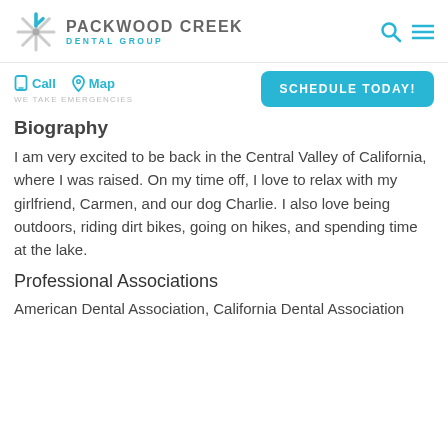PACKWOOD CREEK DENTAL GROUP
Call  Map  WE TAKE EMERGENCIES  SCHEDULE TODAY!
Biography
I am very excited to be back in the Central Valley of California, where I was raised. On my time off, I love to relax with my girlfriend, Carmen, and our dog Charlie. I also love being outdoors, riding dirt bikes, going on hikes, and spending time at the lake.
Professional Associations
American Dental Association, California Dental Association